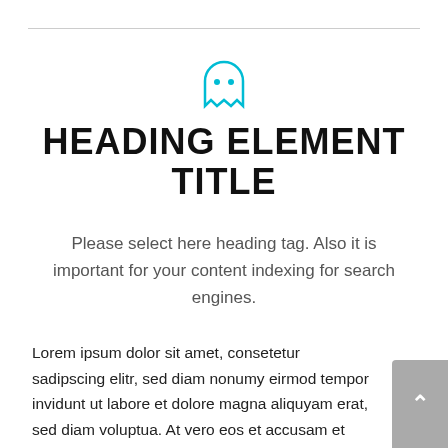HEADING ELEMENT TITLE
Please select here heading tag. Also it is important for your content indexing for search engines.
Lorem ipsum dolor sit amet, consetetur sadipscing elitr, sed diam nonumy eirmod tempor invidunt ut labore et dolore magna aliquyam erat, sed diam voluptua. At vero eos et accusam et justo duo dolores et ea rebum. Stet clita kasd gubergren, no sea takimata sanctus est Lorem ipsum dolor sit amet. Lorem ipsum dolor sit amet, consetetur sadipscing